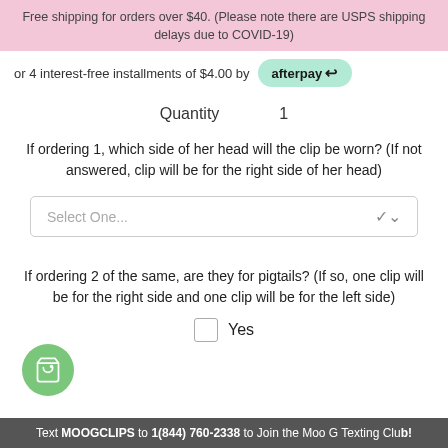Free shipping for orders over $40. (Please note there are USPS shipping delays due to COVID-19)
or 4 interest-free installments of $4.00 by afterpay
Quantity   1
If ordering 1, which side of her head will the clip be worn? (If not answered, clip will be for the right side of her head)
Select One...
If ordering 2 of the same, are they for pigtails? (If so, one clip will be for the right side and one clip will be for the left side)
Yes
Text MOOGCLIPS to 1(844) 760-2338 to Join the Moo G Texting Club!